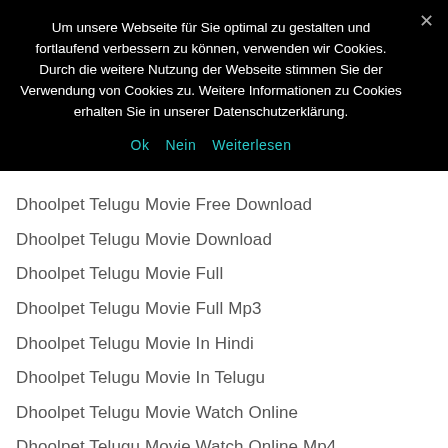Um unsere Webseite für Sie optimal zu gestalten und fortlaufend verbessern zu können, verwenden wir Cookies. Durch die weitere Nutzung der Webseite stimmen Sie der Verwendung von Cookies zu. Weitere Informationen zu Cookies erhalten Sie in unserer Datenschutzerklärung.
Ok   Nein   Weiterlesen
Dhoolpet Telugu Movie Free Download
Dhoolpet Telugu Movie Download
Dhoolpet Telugu Movie Full
Dhoolpet Telugu Movie Full Mp3
Dhoolpet Telugu Movie In Hindi
Dhoolpet Telugu Movie In Telugu
Dhoolpet Telugu Movie Watch Online
Dhoolpet Telugu Movie Watch Online Mp4
Dhoolpet Telugu Movie Watch Online Vimeo
Dhoolpet Telugu Movie Watch Online Mp3
Dhoolpet Telugu Movie Watch Online Vzaar
Dhoolpet Telugu Movie Watch Online Mp4...